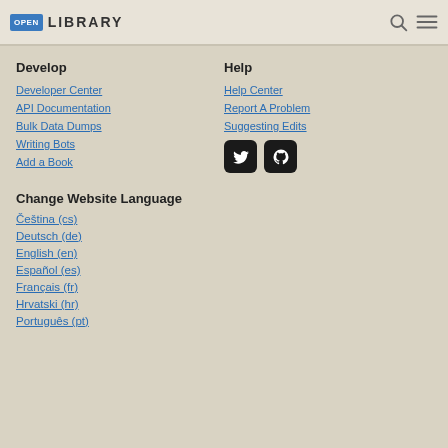OPEN LIBRARY
Develop
Developer Center
API Documentation
Bulk Data Dumps
Writing Bots
Add a Book
Help
Help Center
Report A Problem
Suggesting Edits
[Figure (other): Twitter and GitHub social icon buttons]
Change Website Language
Čeština (cs)
Deutsch (de)
English (en)
Español (es)
Français (fr)
Hrvatski (hr)
Português (pt)